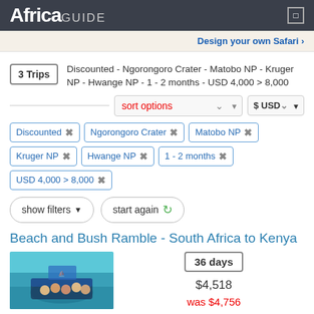AfricaGUIDE
Design your own Safari
3 Trips — Discounted - Ngorongoro Crater - Matobo NP - Kruger NP - Hwange NP - 1 - 2 months - USD 4,000 > 8,000
Discounted ×
Ngorongoro Crater ×
Matobo NP ×
Kruger NP ×
Hwange NP ×
1 - 2 months ×
USD 4,000 > 8,000 ×
show filters | start again
Beach and Bush Ramble - South Africa to Kenya
[Figure (photo): Group of people on a boat on turquoise water]
36 days
$4,518
was $4,756